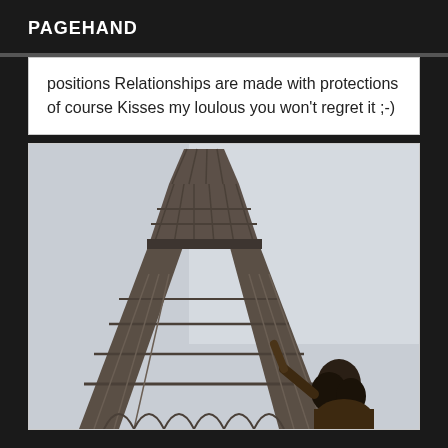PAGEHAND
positions Relationships are made with protections of course Kisses my loulous you won't regret it ;-)
[Figure (photo): Photo of the Eiffel Tower taken from below at an angle, showing the lattice ironwork structure against a light grey sky, with a dark-haired person visible at the bottom of the frame.]